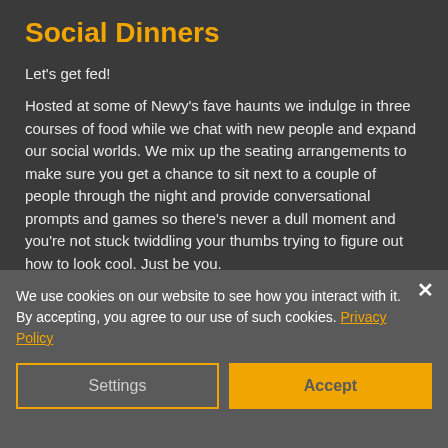Social Dinners
Let's get fed!
Hosted at some of Newy's fave haunts we indulge in three courses of food while we chat with new people and expand our social worlds. We mix up the seating arrangements to make sure you get a chance to sit next to a couple of people through the night and provide conversational prompts and games so there's never a dull moment and you're not stuck twiddling your thumbs trying to figure out how to look cool. Just be you.
All ages welcome · Dietary requirements are
We use cookies on our website to see how you interact with it. By accepting, you agree to our use of such cookies. Privacy Policy
Settings
Accept